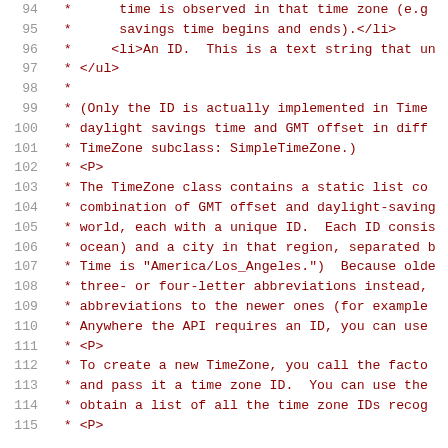Code comment block showing lines 94-115 of Java source, documenting the TimeZone class. Lines include HTML-formatted Javadoc comments about time zone IDs, the static list in TimeZone, SimpleTimeZone subclass, and factory methods.